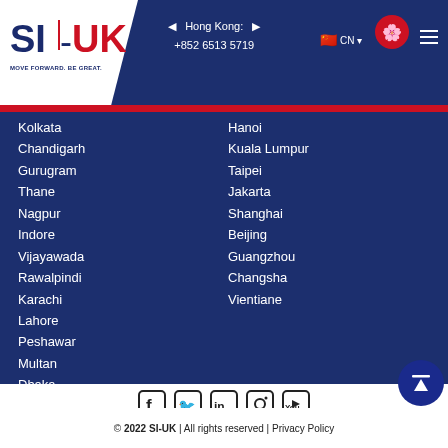[Figure (logo): SI-UK logo with tagline MOVE FORWARD. BE GREAT.]
Hong Kong: +852 6513 5719
Kolkata
Chandigarh
Gurugram
Thane
Nagpur
Indore
Vijayawada
Rawalpindi
Karachi
Lahore
Peshawar
Multan
Dhaka
Chattogram
Kathmandu
Colombo
Jaffna
Hanoi
Kuala Lumpur
Taipei
Jakarta
Shanghai
Beijing
Guangzhou
Changsha
Vientiane
© 2022 SI-UK | All rights reserved | Privacy Policy